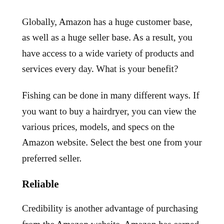Globally, Amazon has a huge customer base, as well as a huge seller base. As a result, you have access to a wide variety of products and services every day. What is your benefit?
Fishing can be done in many different ways. If you want to buy a hairdryer, you can view the various prices, models, and specs on the Amazon website. Select the best one from your preferred seller.
Reliable
Credibility is another advantage of purchasing from the Amazon website. Amazon has earned many positive customer reviews from its target audience...